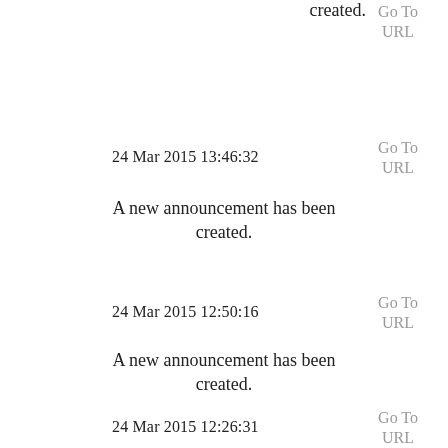created.
24 Mar 2015 13:46:32
Go To URL
A new announcement has been created.
24 Mar 2015 12:50:16
Go To URL
A new announcement has been created.
24 Mar 2015 12:26:31
Go To URL